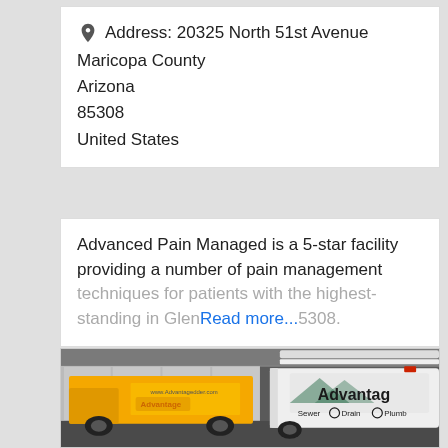Address: 20325 North 51st Avenue
Maricopa County
Arizona
85308
United States
Advanced Pain Managed is a 5-star facility providing a number of pain management techniques for patients with the highest-standing in Glen... Read more...
[Figure (photo): Photo of two Advantage Sewer Drain Plumb service vehicles parked inside a warehouse: a yellow box truck on the left and a white van on the right with 'Advantag Sewer Drain Plumb' text and logo visible.]